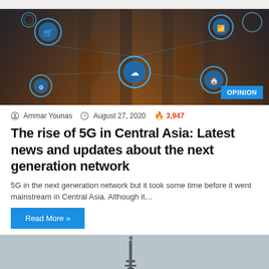[Figure (illustration): Hero banner image showing digital/technology concept with blue glowing icons (WiFi, shopping cart, cloud, home, gears) overlaid on a background of people and wooden pillars. 'OPINION' badge in bottom right corner.]
Ammar Younas  August 27, 2020  3,947
The rise of 5G in Central Asia: Latest news and updates about the next generation network
5G in the next generation network but it took some time before it went mainstream in Central Asia. Although it…
Read More »
[Figure (photo): Partial photo of what appears to be a telecommunications tower or antenna against a grey sky.]